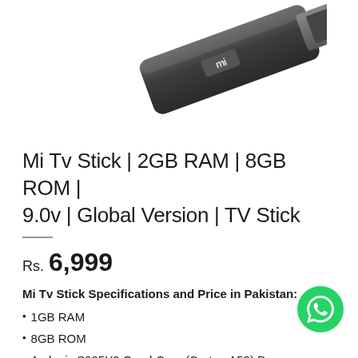[Figure (photo): Mi TV Stick device shown at an angle — a dark gray HDMI stick with the Xiaomi 'mi' logo on top]
Mi Tv Stick | 2GB RAM | 8GB ROM | 9.0v | Global Version | TV Stick
Rs. 6,999
Mi Tv Stick Specifications and Price in Pakistan:
1GB RAM
8GB ROM
Amlogic S905Y2 Quad-Core (Cortex-A53) Processor With Mali-G31 MP2 GPU
Android TV 9.0